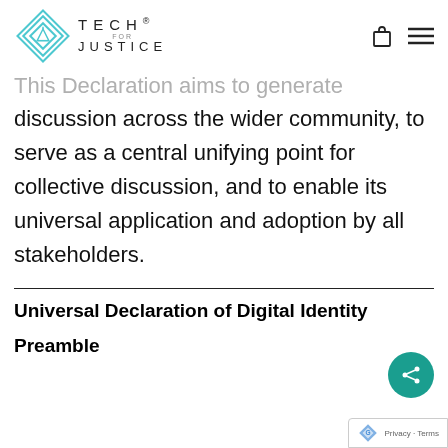TECH® FOR JUSTICE [logo and navigation]
This Declaration aims to generate discussion across the wider community, to serve as a central unifying point for collective discussion, and to enable its universal application and adoption by all stakeholders.
Universal Declaration of Digital Identity
Preamble